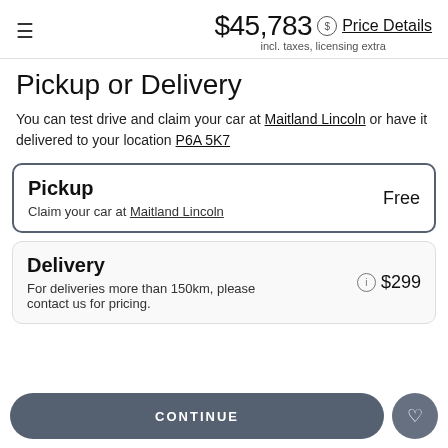$45,783 incl. taxes, licensing extra | Price Details
Pickup or Delivery
You can test drive and claim your car at Maitland Lincoln or have it delivered to your location P6A 5K7
Pickup
Claim your car at Maitland Lincoln
Free
Delivery
For deliveries more than 150km, please contact us for pricing.
$299
CONTINUE